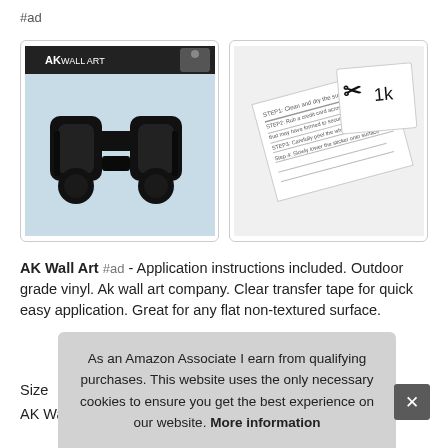#ad
[Figure (photo): Product image of AK Wall Art binoculars vinyl decal on light blue background with AK Wall Art branding header]
[Figure (photo): Application instructions sheet with step-by-step directions and vinyl decal samples shown at an angle]
AK Wall Art #ad - Application instructions included. Outdoor grade vinyl. Ak wall art company. Clear transfer tape for quick easy application. Great for any flat non-textured surface.
Size
AK Wall Art branding. Available in multiple sizes. For
As an Amazon Associate I earn from qualifying purchases. This website uses the only necessary cookies to ensure you get the best experience on our website. More information